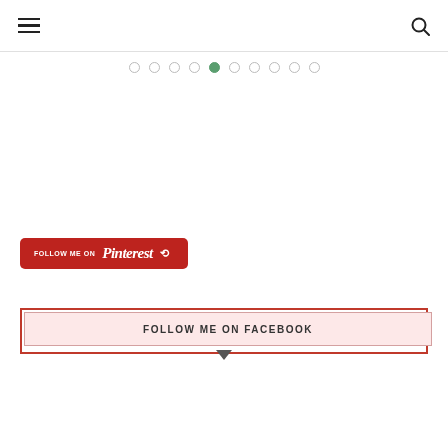Navigation header with hamburger menu and search icon
[Figure (other): Pagination dots row with 10 dots, 5th dot highlighted in green]
[Figure (other): Follow Me on Pinterest red button with Pinterest logo]
[Figure (other): Follow Me on Facebook button with pink background and red border, dropdown arrow below]